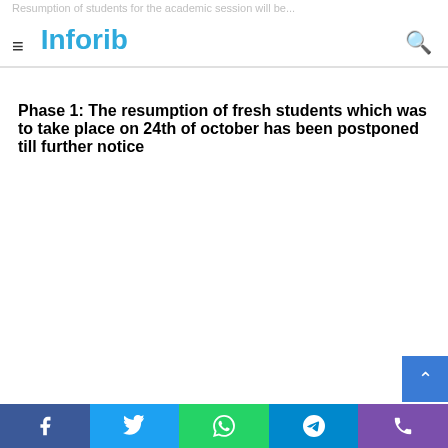Inforib
Resumption of students for the academic session will be...
Phase 1: The resumption of fresh students which was to take place on 24th of october has been postponed till further notice